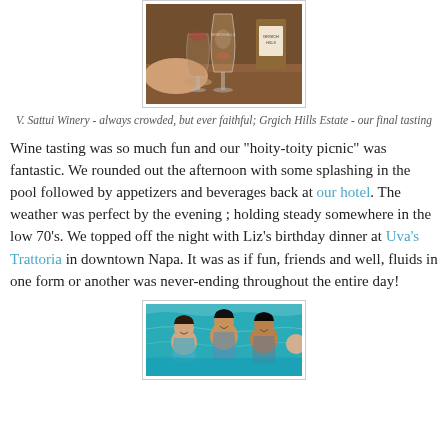[Figure (photo): Photo of wine glasses at Grgich Hills Estate winery tasting bar]
V. Sattui Winery - always crowded, but ever faithful; Grgich Hills Estate - our final tasting
Wine tasting was so much fun and our "hoity-toity picnic" was fantastic. We rounded out the afternoon with some splashing in the pool followed by appetizers and beverages back at our hotel. The weather was perfect by the evening ; holding steady somewhere in the low 70's. We topped off the night with Liz's birthday dinner at Uva's Trattoria in downtown Napa. It was as if fun, friends and well, fluids in one form or another was never-ending throughout the entire day!
[Figure (photo): Photo of people swimming in a pool]